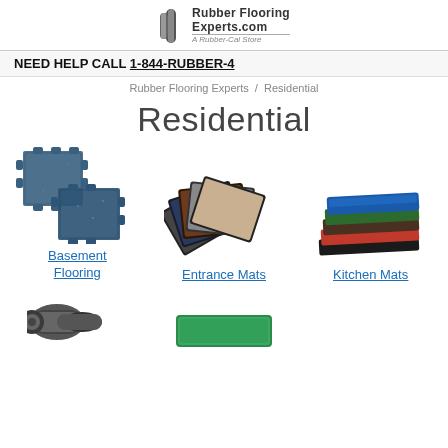RubberFlooringExperts.com — A Rubber-Cal Store
NEED HELP CALL 1-844-RUBBER-4
Rubber Flooring Experts / Residential
Residential
[Figure (photo): Blue interlocking rubber floor tiles for basement flooring]
Basement Flooring
[Figure (photo): Fan of entrance mats in multiple colors including black, brown, tan]
Entrance Mats
[Figure (photo): Stack of colorful kitchen mats in blue, green, red]
Kitchen Mats
[Figure (photo): Rolled rubber flooring material shown at bottom of page]
[Figure (photo): Green rubber mat partially visible at bottom of page]